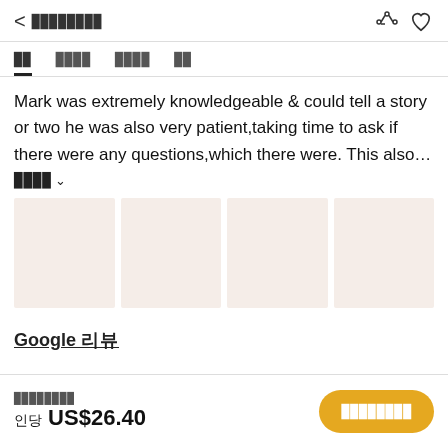< ████████
██  ████  ████  ██
Mark was extremely knowledgeable & could tell a story or two he was also very patient,taking time to ask if there were any questions,which there were. This also…
████ ∨
[Figure (photo): Four image placeholders in a horizontal row with light beige/pink background color]
Google 리뷰
최저가격 / 인당 US$26.40 / 지금 예약하기